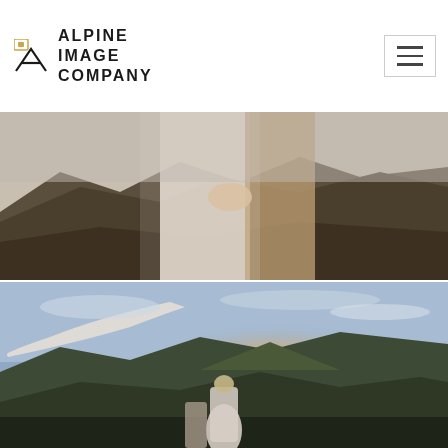ALPINE IMAGE COMPANY
[Figure (photo): Close-up of a couple in wedding attire holding hands on a mountain ridge. The bride wears a white lace dress and the groom wears a tan suit. Dramatic mountain landscape in the background with golden light.]
[Figure (photo): A bride in a white backless dress with a long veil flowing in the wind, standing on a mountain ridge at sunset. Golden sunlight bursts from behind a peak with expansive mountain valleys in the background.]